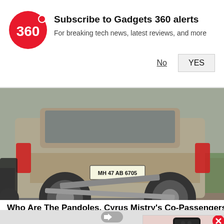[Figure (screenshot): Gadgets 360 notification banner with red circular logo showing '360', subscribe prompt text, and No/YES buttons]
Subscribe to Gadgets 360 alerts
For breaking tech news, latest reviews, and more
[Figure (photo): Rear view of a silver/grey SUV (Mercedes) with license plate MH 47 AB 6705, bumper dragging on the road, parked on a street]
Who Are The Pandoles, Cyrus Mistry's Co-Passengers? 10 Facts
Cyrus Mistry, former Chairman of Tata accident while on way from Gujarat's U He was accompanied by three others
News
[Figure (screenshot): Video popup showing a dark smartphone against pink background with a red YouTube-style play button overlay, and a red X close button]